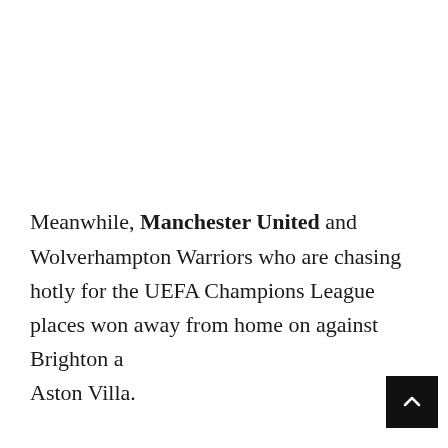Meanwhile, Manchester United and Wolverhampton Warriors who are chasing hotly for the UEFA Champions League places won away from home on against Brighton and Aston Villa.